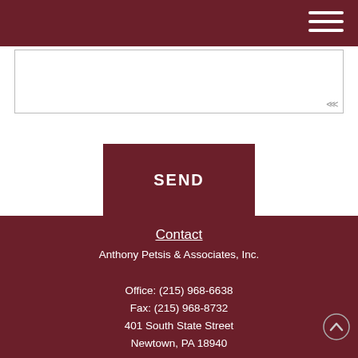(textarea / message input area)
SEND
Contact
Anthony Petsis & Associates, Inc.
Office: (215) 968-6638
Fax: (215) 968-8732
401 South State Street
Newtown, PA 18940
Questions@APetsis.com